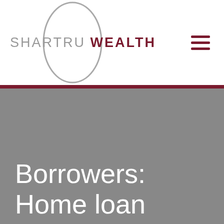[Figure (logo): Shartru Wealth logo with a grey circle outline and the text SHARTRU in grey and WEALTH in dark red/maroon]
Borrowers: Home loan